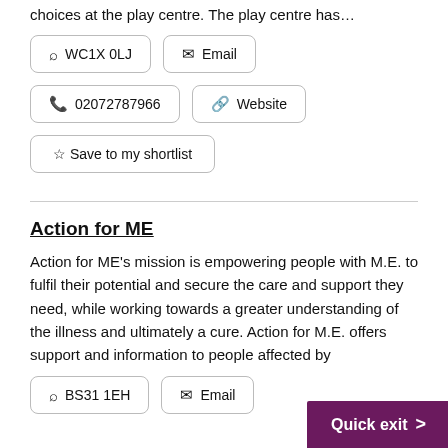choices at the play centre. The play centre has…
WC1X 0LJ
Email
02072787966
Website
☆ Save to my shortlist
Action for ME
Action for ME's mission is empowering people with M.E. to fulfil their potential and secure the care and support they need, while working towards a greater understanding of the illness and ultimately a cure. Action for ME. offers support and information to people affected by
BS31 1EH
Email
Quick exit >